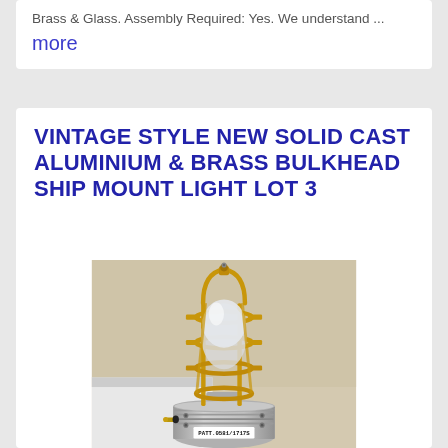Brass & Glass. Assembly Required: Yes. We understand ... more
VINTAGE STYLE NEW SOLID CAST ALUMINIUM & BRASS BULKHEAD SHIP MOUNT LIGHT LOT 3
[Figure (photo): Photo of a vintage style solid cast aluminium and brass bulkhead ship mount light. The light has a dome-shaped glass globe enclosed in a brass cage/guard structure, mounted on a silver/aluminium circular base with a label reading PATT.0581/1717S.]